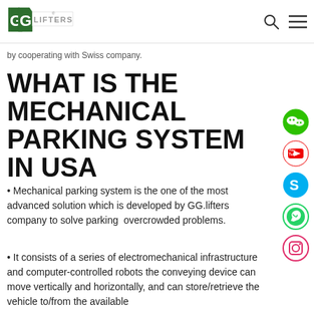GG LIFTERS
by cooperating with Swiss company.
WHAT IS THE MECHANICAL PARKING SYSTEM IN USA
Mechanical parking system is the one of the most advanced solution which is developed by GG.lifters company to solve parking overcrowded problems.
It consists of a series of electromechanical infrastructure and computer-controlled robots the conveying device can move vertically and horizontally, and can store/retrieve the vehicle to/from the available